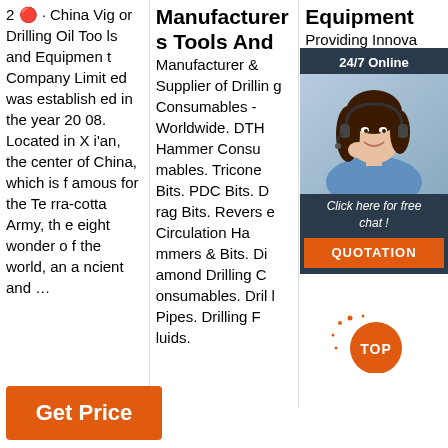2 🔴 · China Vigor Drilling Oil Tools and Equipment Company Limited was established in the year 2008. Located in Xi'an, the center of China, which is famous for the Terra-cotta Army, the eight wonder of the world, an ancient and ...
Manufacturers Tools And Manufacturer & Supplier of Drilling Consumables - Worldwide. DTH Hammer Consumables. Tricone Bits. PDC Bits. Drag Bits. Reverse Circulation Hammers & Bits. Diamond Drilling Consumables. Drill Pipes. Drilling Fluids.
Equipment Providing Innovative Drilling Solutions... drilling... providing services to the products you need, supported by knowledgeable and experienced "drilling" ind
[Figure (illustration): Chat overlay with woman wearing headset, '24/7 Online' header, 'Click here for free chat!' text, and QUOTATION button]
Get Price
[Figure (infographic): TOP badge - orange circle with TOP text and splash dots]